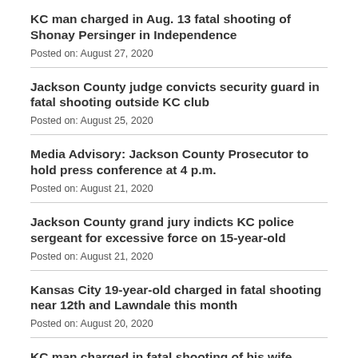KC man charged in Aug. 13 fatal shooting of Shonay Persinger in Independence
Posted on: August 27, 2020
Jackson County judge convicts security guard in fatal shooting outside KC club
Posted on: August 25, 2020
Media Advisory: Jackson County Prosecutor to hold press conference at 4 p.m.
Posted on: August 21, 2020
Jackson County grand jury indicts KC police sergeant for excessive force on 15-year-old
Posted on: August 21, 2020
Kansas City 19-year-old charged in fatal shooting near 12th and Lawndale this month
Posted on: August 20, 2020
KC man charged in fatal shooting of his wife